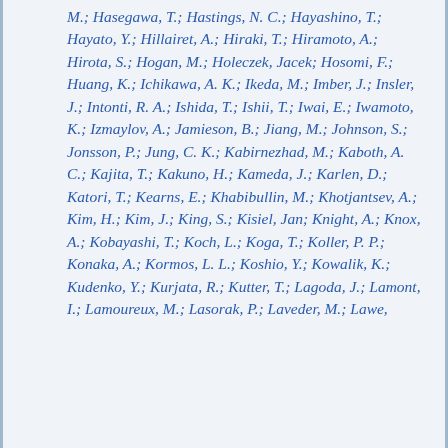M.; Hasegawa, T.; Hastings, N. C.; Hayashino, T.; Hayato, Y.; Hillairet, A.; Hiraki, T.; Hiramoto, A.; Hirota, S.; Hogan, M.; Holeczek, Jacek; Hosomi, F.; Huang, K.; Ichikawa, A. K.; Ikeda, M.; Imber, J.; Insler, J.; Intonti, R. A.; Ishida, T.; Ishii, T.; Iwai, E.; Iwamoto, K.; Izmaylov, A.; Jamieson, B.; Jiang, M.; Johnson, S.; Jonsson, P.; Jung, C. K.; Kabirnezhad, M.; Kaboth, A. C.; Kajita, T.; Kakuno, H.; Kameda, J.; Karlen, D.; Katori, T.; Kearns, E.; Khabibullin, M.; Khotjantsev, A.; Kim, H.; Kim, J.; King, S.; Kisiel, Jan; Knight, A.; Knox, A.; Kobayashi, T.; Koch, L.; Koga, T.; Koller, P. P.; Konaka, A.; Kormos, L. L.; Koshio, Y.; Kowalik, K.; Kudenko, Y.; Kurjata, R.; Kutter, T.; Lagoda, J.; Lamont, I.; Lamoureux, M.; Lasorak, P.; Laveder, M.; Lawe, M.; Licciardi; Litchfield, T.; Lister,